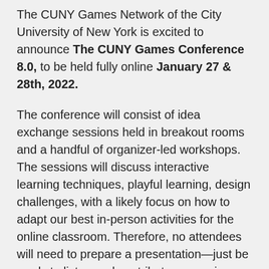The CUNY Games Network of the City University of New York is excited to announce The CUNY Games Conference 8.0, to be held fully online January 27 & 28th, 2022.
The conference will consist of idea exchange sessions held in breakout rooms and a handful of organizer-led workshops. The sessions will discuss interactive learning techniques, playful learning, design challenges, with a likely focus on how to adapt our best in-person activities for the online classroom. Therefore, no attendees will need to prepare a presentation—just be ready to listen and contribute your unique knowledge! On Day 2 we will likely reserve to play together online tabletop and digital games and debrief their learning potential.
The CUNY Games Network promotes game-based pedagogies in higher education, focusing particularly on